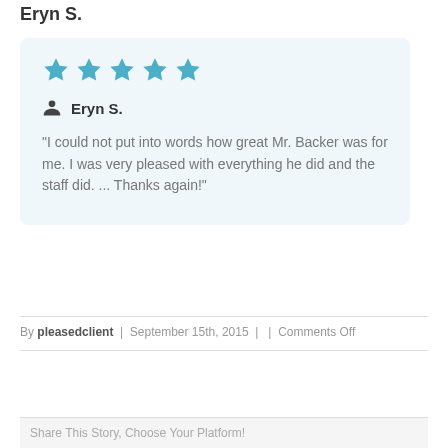Eryn S.
★★★★★
Eryn S.
"I could not put into words how great Mr. Backer was for me. I was very pleased with everything he did and the staff did. ... Thanks again!"
By pleasedclient | September 15th, 2015 | | Comments Off
Share This Story, Choose Your Platform!